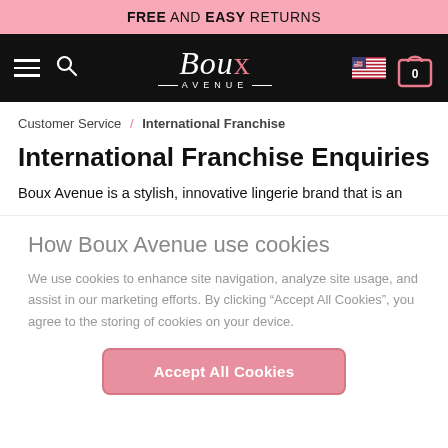FREE AND EASY RETURNS
[Figure (screenshot): Boux Avenue website navigation bar with hamburger menu, search icon, Boux Avenue logo, US flag, and shopping bag icon with 0 items]
Customer Service / International Franchise
International Franchise Enquiries
Boux Avenue is a stylish, innovative lingerie brand that is an
How Boux Avenue use cookies
We use cookies to enhance site navigation, analyze site usage, and assist in our marketing efforts. By clicking “Accept All Cookies”, you agree to the storing of cookies on your device.
Accept All Cookies